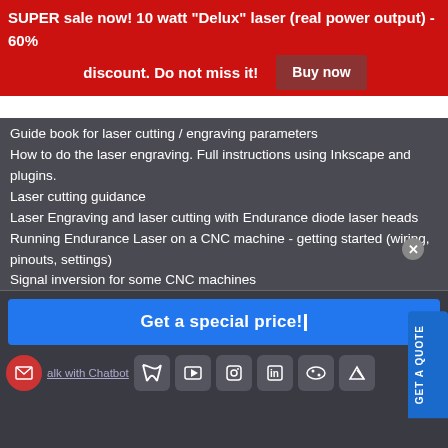SUPER sale now! 10 watt "Delux" laser (real power output) - 60% discount. Do not miss it! Buy now
Guide book for laser cutting / engraving parameters
How to do the laser engraving. Full instructions using Inkscape and plugins.
Laser cutting guidance
Laser Engraving and laser cutting with Endurance diode laser heads
Running Endurance Laser on a CNC machine - getting started (wiring, pinouts, settings)
Signal inversion for some CNC machines
Get a special price!
Talk with Chatbot
GET A QUOTE